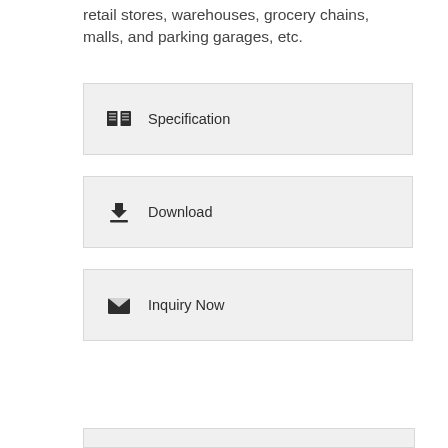retail stores, warehouses, grocery chains, malls, and parking garages, etc.
Specification
Download
Inquiry Now